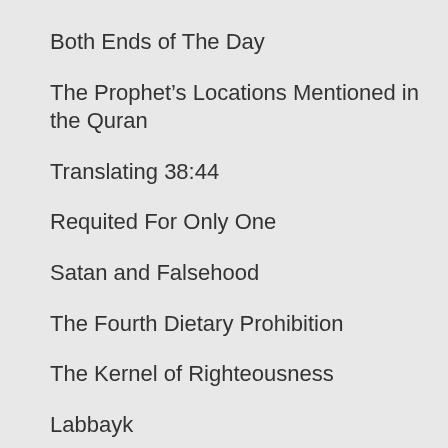Both Ends of The Day
The Prophet’s Locations Mentioned in the Quran
Translating 38:44
Requited For Only One
Satan and Falsehood
The Fourth Dietary Prohibition
The Kernel of Righteousness
Labbayk
Extravagant Zakat?
Disproving “The Wrapped One Code”